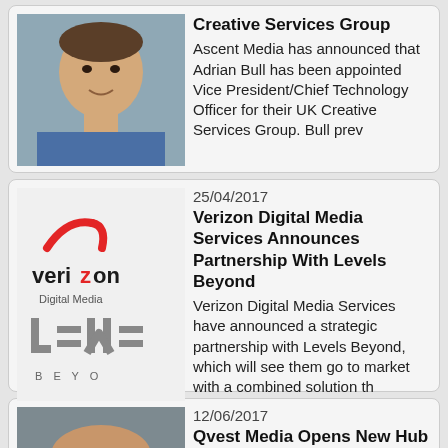[Figure (photo): Headshot of a man, used as article thumbnail for Creative Services Group story]
Creative Services Group
Ascent Media has announced that Adrian Bull has been appointed Vice President/Chief Technology Officer for their UK Creative Services Group. Bull prev
25/04/2017
[Figure (logo): Verizon Digital Media and Levels Beyond combined logo]
Verizon Digital Media Services Announces Partnership With Levels Beyond
Verizon Digital Media Services have announced a strategic partnership with Levels Beyond, which will see them go to market with a combined solution th
12/06/2017
[Figure (photo): Headshot of a bald man smiling, used as article thumbnail for Qvest Media story]
Qvest Media Opens New Hub
Qvest Media has announced that it is to open a new central hub for Northern Europe in Copenhagen, led by manager Peter Thomsen. The company will also
07/08/2003